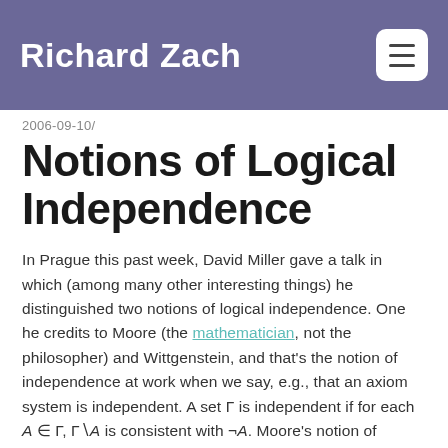Richard Zach
2006-09-10/
Notions of Logical Independence
In Prague this past week, David Miller gave a talk in which (among many other interesting things) he distinguished two notions of logical independence. One he credits to Moore (the mathematician, not the philosopher) and Wittgenstein, and that's the notion of independence at work when we say, e.g., that an axiom system is independent. A set Γ is independent if for each A ∈ Γ, Γ∖A is consistent with ¬A. Moore's notion of